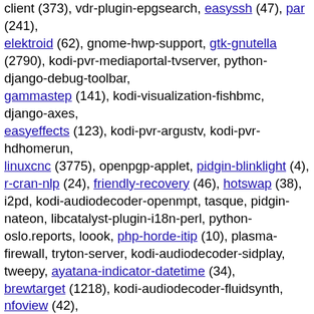client (373), vdr-plugin-epgsearch, easyssh (47), par (241), elektroid (62), gnome-hwp-support, gtk-gnutella (2790), kodi-pvr-mediaportal-tvserver, python-django-debug-toolbar, gammastep (141), kodi-visualization-fishbmc, django-axes, easyeffects (123), kodi-pvr-argustv, kodi-pvr-hdhomerun, linuxcnc (3775), openpgp-applet, pidgin-blinklight (4), r-cran-nlp (24), friendly-recovery (46), hotswap (38), i2pd, kodi-audiodecoder-openmpt, tasque, pidgin-nateon, libcatalyst-plugin-i18n-perl, python-oslo.reports, loook, php-horde-itip (10), plasma-firewall, tryton-server, kodi-audiodecoder-sidplay, tweepy, ayatana-indicator-datetime (34), brewtarget (1218), kodi-audiodecoder-fluidsynth, nfoview (42), php-horde-imp (1395), python-oslo.privsep, chroma (256), cyclograph, deb-gview, gpr (52), php-horde-mnemo (146), pommed (10), simple-ccsm, tomboy-ng (432), trader (238), vdr-plugin-live, vdradmin-am (495), efax-gtk (473), php-horde-kronolith (803), php-horde-nag (381), php-horde-turba (440), setzer (16), tt-rss (729), kio-gopher, kodi-pvr-njoy, kodi-pvr-wmc, php-horde-timeobjects (7), psychopy (1771),